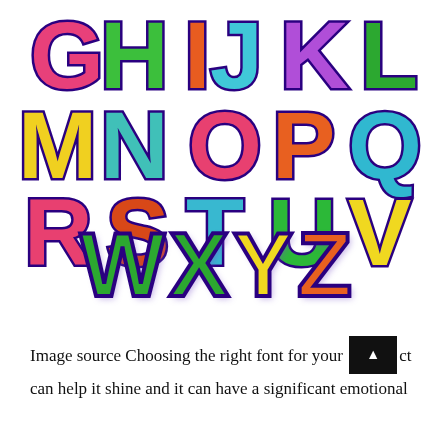[Figure (illustration): Colorful 3D bubble-style uppercase letters G H I J K L (row 1), M N O P Q (row 2), R S T U V (row 3), W X Y Z (row 4), each letter in a different bright color (pink, green, orange, teal, purple, yellow) with dark purple outline and shadow effect on white background.]
Image source Choosing the right font for your [project] can help it shine and it can have a significant emotional